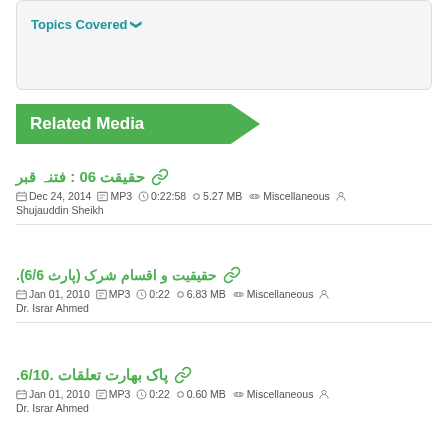Topics Covered
Related Media
حقیقت 06 : فتنہ قبر — Dec 24, 2014 | MP3 | 0:22:58 | 5.27 MB | Miscellaneous | Shujauddin Sheikh
حقیقیت و اقسام شرک (پارث 6/6). — Jan 01, 2010 | MP3 | 0:22 | 6.83 MB | Miscellaneous | Dr. Israr Ahmed
پاک بھارت تعلقات .6/10. — Jan 01, 2010 | MP3 | 0:22 | 0.60 MB | Miscellaneous | Dr. Israr Ahmed